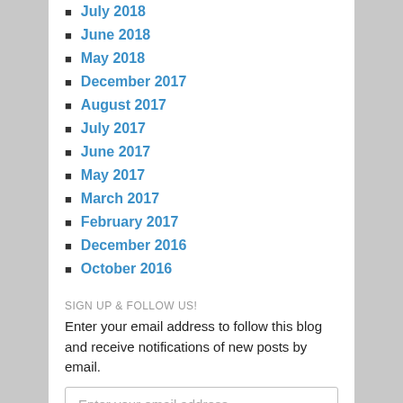July 2018
June 2018
May 2018
December 2017
August 2017
July 2017
June 2017
May 2017
March 2017
February 2017
December 2016
October 2016
SIGN UP & FOLLOW US!
Enter your email address to follow this blog and receive notifications of new posts by email.
Enter your email address
Follow